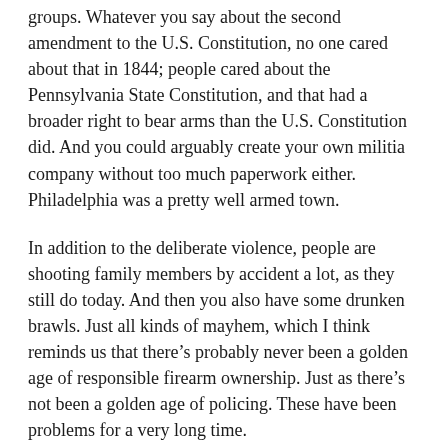groups. Whatever you say about the second amendment to the U.S. Constitution, no one cared about that in 1844; people cared about the Pennsylvania State Constitution, and that had a broader right to bear arms than the U.S. Constitution did. And you could arguably create your own militia company without too much paperwork either. Philadelphia was a pretty well armed town.
In addition to the deliberate violence, people are shooting family members by accident a lot, as they still do today. And then you also have some drunken brawls. Just all kinds of mayhem, which I think reminds us that there’s probably never been a golden age of responsible firearm ownership. Just as there’s not been a golden age of policing. These have been problems for a very long time.
TK: To build off of that, your book really indicates there’s also never been a golden age of municipal governance writ large, at least in Philadelphia. You talk about fire